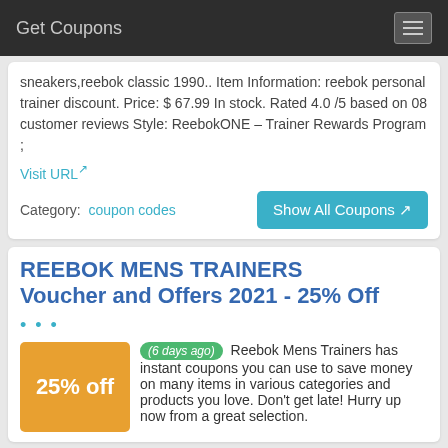Get Coupons
sneakers,reebok classic 1990.. Item Information: reebok personal trainer discount. Price: $ 67.99 In stock. Rated 4.0 /5 based on 08 customer reviews Style: ReebokONE – Trainer Rewards Program ;
Visit URL
Category:  coupon codes
Show All Coupons
REEBOK MENS TRAINERS Voucher and Offers 2021 - 25% Off
...
25% off
(6 days ago) Reebok Mens Trainers has instant coupons you can use to save money on many items in various categories and products you love. Don't get late! Hurry up now from a great selection.